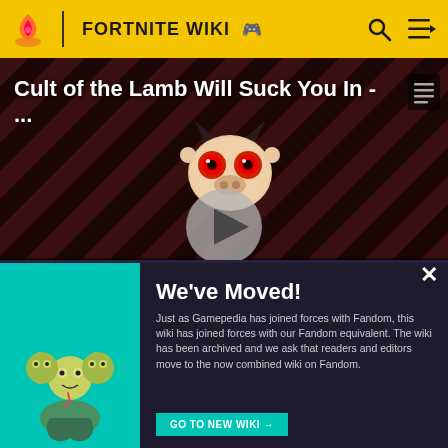FORTNITE WIKI
[Figure (screenshot): Video thumbnail for 'Cult of the Lamb Will Suck You In - ...' with a cartoon creature character, diagonal stripe pattern background in dark red/maroon, THE LOOP watermark text, play button in center, and NaN:NaN timestamp badge]
there is not already an item on the item spawner when receiving on this channel.
We've Moved! Just as Gamepedia has joined forces with Fandom, this wiki has joined forces with our Fandom equivalent. The wiki has been archived and we ask that readers and editors move to the now combined wiki on Fandom. GO TO NEW WIKI →